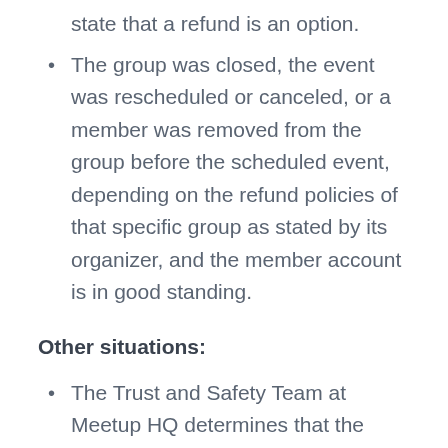state that a refund is an option.
The group was closed, the event was rescheduled or canceled, or a member was removed from the group before the scheduled event, depending on the refund policies of that specific group as stated by its organizer, and the member account is in good standing.
Other situations:
The Trust and Safety Team at Meetup HQ determines that the refund is in the best interest of maintaining the integrity of the Meetup platform, to moderate fraud, misuse, or risk.